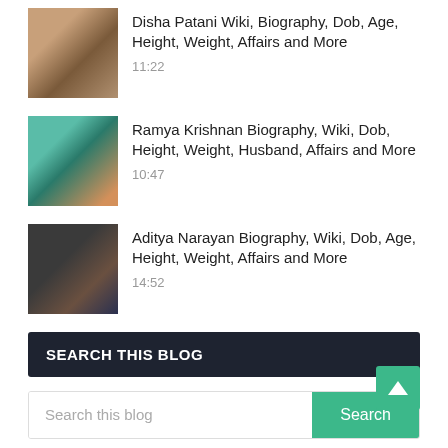[Figure (photo): Photo of Disha Patani]
Disha Patani Wiki, Biography, Dob, Age, Height, Weight, Affairs and More
11:22
[Figure (photo): Photo of Ramya Krishnan]
Ramya Krishnan Biography, Wiki, Dob, Height, Weight, Husband, Affairs and More
10:47
[Figure (photo): Photo of Aditya Narayan]
Aditya Narayan Biography, Wiki, Dob, Age, Height, Weight, Affairs and More
14:52
SEARCH THIS BLOG
Search this blog
Home
About
Contact
Privacy Policy
Bollywood
Actors